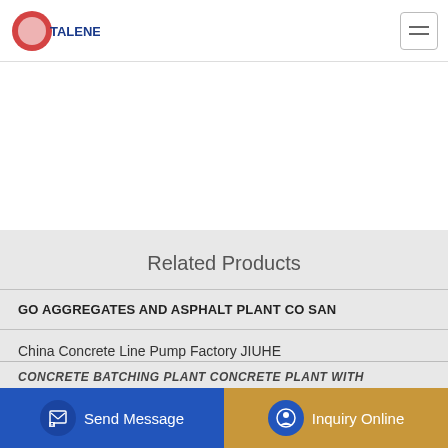[Figure (logo): Company logo top left with red circular emblem]
Related Products
GO AGGREGATES AND ASPHALT PLANT CO SAN
China Concrete Line Pump Factory JIUHE
China Concrete Pump S Valve Tube for Pm Concrete Pump
CONCRETE BATCHING PLANT CONCRETE PLANT WITH
Send Message
Inquiry Online